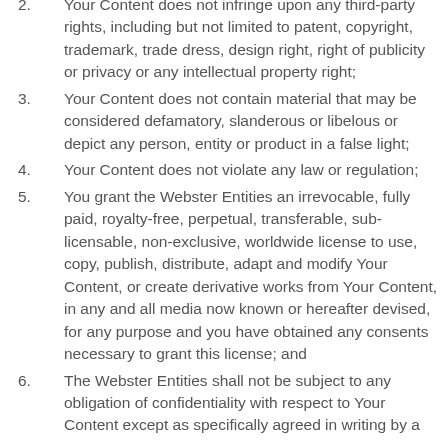2. Your Content does not infringe upon any third-party rights, including but not limited to patent, copyright, trademark, trade dress, design right, right of publicity or privacy or any intellectual property right;
3. Your Content does not contain material that may be considered defamatory, slanderous or libelous or depict any person, entity or product in a false light;
4. Your Content does not violate any law or regulation;
5. You grant the Webster Entities an irrevocable, fully paid, royalty-free, perpetual, transferable, sub-licensable, non-exclusive, worldwide license to use, copy, publish, distribute, adapt and modify Your Content, or create derivative works from Your Content, in any and all media now known or hereafter devised, for any purpose and you have obtained any consents necessary to grant this license; and
6. The Webster Entities shall not be subject to any obligation of confidentiality with respect to Your Content except as specifically agreed in writing by a